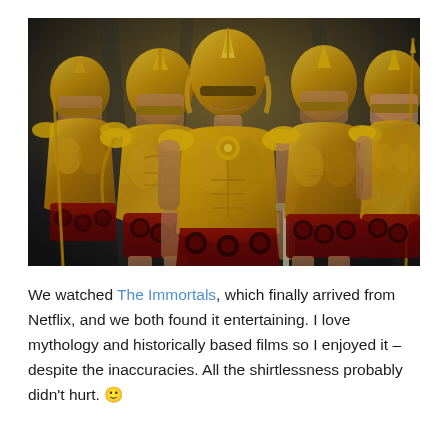[Figure (photo): Five warriors in elaborate gold Greek/Roman-style armor and helmets standing together. The central figure is prominently forward. All wear gold muscled breastplates with decorative red and gold skirts. The background is dark. Scene from the movie 'The Immortals'.]
We watched The Immortals, which finally arrived from Netflix, and we both found it entertaining. I love mythology and historically based films so I enjoyed it – despite the inaccuracies. All the shirtlessness probably didn't hurt. 🙂